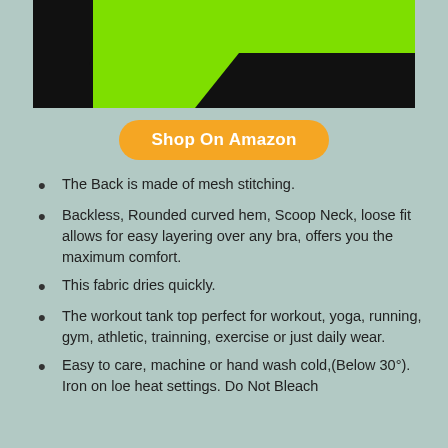[Figure (photo): Product photo showing a lime green workout tank top with black pants/shorts, cropped view of torso/bottom of shirt]
Shop On Amazon
The Back is made of mesh stitching.
Backless, Rounded curved hem, Scoop Neck, loose fit allows for easy layering over any bra, offers you the maximum comfort.
This fabric dries quickly.
The workout tank top perfect for workout, yoga, running, gym, athletic, trainning, exercise or just daily wear.
Easy to care, machine or hand wash cold,(Below 30°). Iron on loe heat settings. Do Not Bleach